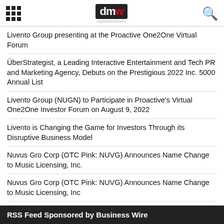digitalmediawire (dmw logo)
Livento Group presenting at the Proactive One2One Virtual Forum
ÜberStrategist, a Leading Interactive Entertainment and Tech PR and Marketing Agency, Debuts on the Prestigious 2022 Inc. 5000 Annual List
Livento Group (NUGN) to Participate in Proactive's Virtual One2One Investor Forum on August 9, 2022
Livento is Changing the Game for Investors Through its Disruptive Business Model
Nuvus Gro Corp (OTC Pink: NUVG) Announces Name Change to Music Licensing, Inc.
Nuvus Gro Corp (OTC Pink: NUVG) Announces Name Change to Music Licensing, Inc
LIVENTO GROUP PROVIDES SHAREHOLDER LETTER AND FOURTH QUARTER MATERIAL EVENTS LINE-UP
The 50 Worst Songs By Otherwise Great Artists: SPIN Calls Out the Stinkers and Names Names
RSS Feed Sponsored by Business Wire